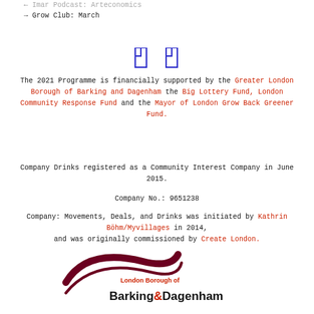← Imar Podcast: Arteconomics
→ Grow Club: March
[Figure (other): Two blue bookmark/flag icons (social media or navigation icons) centered on the page]
The 2021 Programme is financially supported by the Greater London Borough of Barking and Dagenham the Big Lottery Fund, London Community Response Fund and the Mayor of London Grow Back Greener Fund.
Company Drinks registered as a Community Interest Company in June 2015.
Company No.: 9651238
Company: Movements, Deals, and Drinks was initiated by Kathrin Böhm/Myvillages in 2014, and was originally commissioned by Create London.
[Figure (logo): London Borough of Barking & Dagenham logo with swoosh graphic]